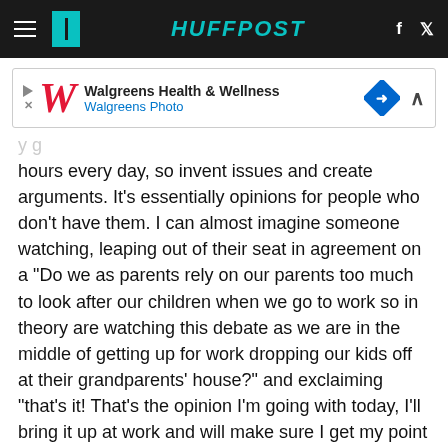HUFFPOST
[Figure (other): Walgreens Health & Wellness / Walgreens Photo advertisement banner]
hours every day, so invent issues and create arguments. It's essentially opinions for people who don't have them. I can almost imagine someone watching, leaping out of their seat in agreement on a "Do we as parents rely on our parents too much to look after our children when we go to work so in theory are watching this debate as we are in the middle of getting up for work dropping our kids off at their grandparents' house?" and exclaiming "that's it! That's the opinion I'm going with today, I'll bring it up at work and will make sure I get my point in". These